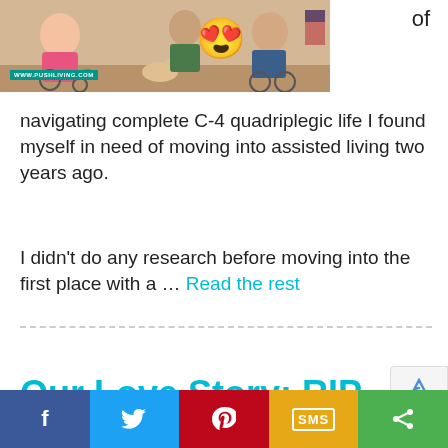[Figure (photo): Group photo of people in wheelchairs with a dog, with a heart-eyes emoji overlay and WWW.PUSHLIVING.COM watermark. Partial text 'of' visible to the right.]
navigating complete C-4 quadriplegic life I found myself in need of moving into assisted living two years ago.
I didn't do any research before moving into the first place with a … Read the rest
Our Love Story: RIP
f  [Twitter bird]  [Pinterest P]  SMS  [Share icon]